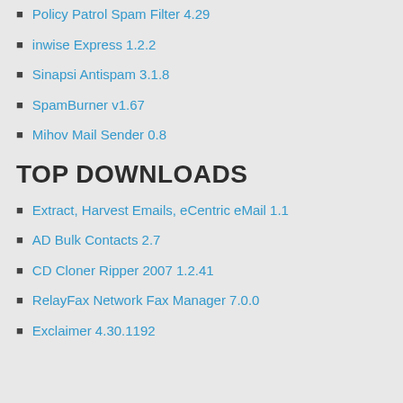Policy Patrol Spam Filter 4.29
inwise Express 1.2.2
Sinapsi Antispam 3.1.8
SpamBurner v1.67
Mihov Mail Sender 0.8
TOP DOWNLOADS
Extract, Harvest Emails, eCentric eMail 1.1
AD Bulk Contacts 2.7
CD Cloner Ripper 2007 1.2.41
RelayFax Network Fax Manager 7.0.0
Exclaimer 4.30.1192